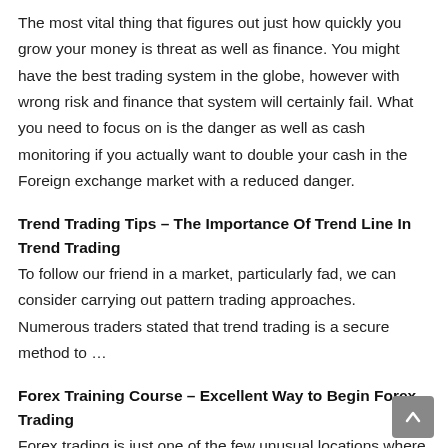The most vital thing that figures out just how quickly you grow your money is threat as well as finance. You might have the best trading system in the globe, however with wrong risk and finance that system will certainly fail. What you need to focus on is the danger as well as cash monitoring if you actually want to double your cash in the Foreign exchange market with a reduced danger.
Trend Trading Tips – The Importance Of Trend Line In Trend Trading
To follow our friend in a market, particularly fad, we can consider carrying out pattern trading approaches. Numerous traders stated that trend trading is a secure method to …
Forex Training Course – Excellent Way to Begin Forex Trading
Forex trading is just one of the few unusual locations where